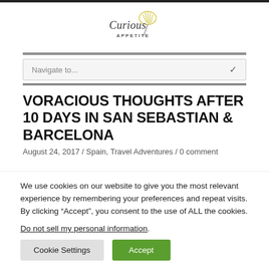[Figure (logo): Curious Appetite logo with stylized script text and a whisk illustration]
Navigate to...
VORACIOUS THOUGHTS AFTER 10 DAYS IN SAN SEBASTIAN & BARCELONA
August 24, 2017 / Spain, Travel Adventures / 0 comment
We use cookies on our website to give you the most relevant experience by remembering your preferences and repeat visits. By clicking “Accept”, you consent to the use of ALL the cookies.
Do not sell my personal information.
Cookie Settings
Accept